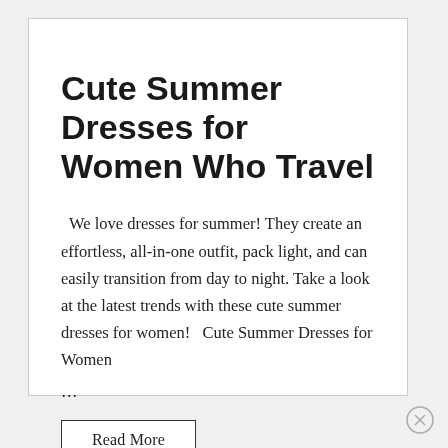Cute Summer Dresses for Women Who Travel
We love dresses for summer! They create an effortless, all-in-one outfit, pack light, and can easily transition from day to night. Take a look at the latest trends with these cute summer dresses for women!   Cute Summer Dresses for Women …
Read More